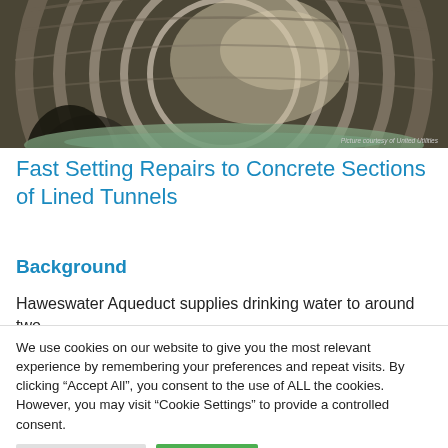[Figure (photo): Close-up photograph of the interior of a lined tunnel, showing curved concrete or metal lining with water visible at the bottom. Photo credit: 'Picture courtesy of United Utilities']
Fast Setting Repairs to Concrete Sections of Lined Tunnels
Background
Haweswater Aqueduct supplies drinking water to around two
We use cookies on our website to give you the most relevant experience by remembering your preferences and repeat visits. By clicking “Accept All”, you consent to the use of ALL the cookies. However, you may visit "Cookie Settings" to provide a controlled consent.